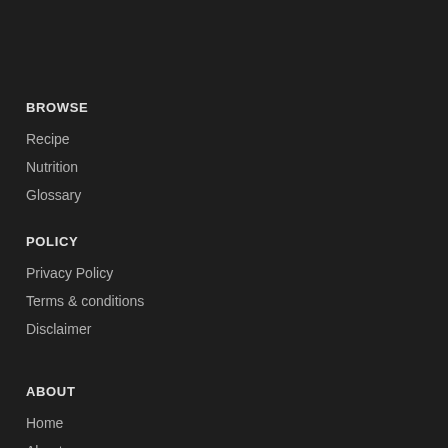BROWSE
Recipe
Nutrition
Glossary
POLICY
Privacy Policy
Terms & conditions
Disclaimer
ABOUT
Home
About us
Contact us